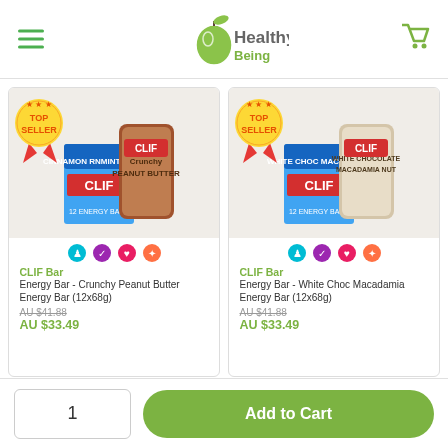Healthy Being
[Figure (photo): CLIF Bar Crunchy Peanut Butter Energy Bar product image with TOP SELLER badge]
CLIF Bar
Energy Bar - Crunchy Peanut Butter Energy Bar (12x68g)
AU $41.88
AU $33.49
[Figure (photo): CLIF Bar White Chocolate Macadamia Energy Bar product image with TOP SELLER badge]
CLIF Bar
Energy Bar - White Choc Macadamia Energy Bar (12x68g)
AU $41.88
AU $33.49
1
Add to Cart